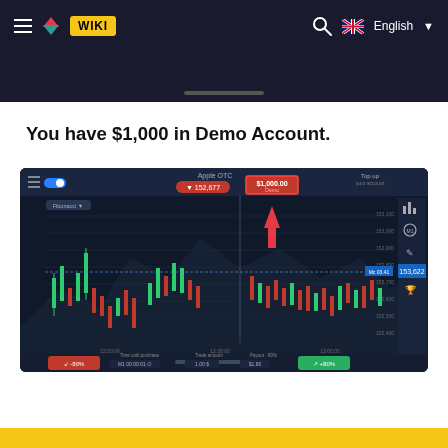≡  ▲▼ WIKI   🔍  🇬🇧 English ▼
[Figure (screenshot): Dark trading platform screenshot showing a candlestick chart for Apple OTC, with $1,000.00 Demo account balance highlighted with a red arrow, trade controls at bottom showing -80% and +80% buttons]
You have $1,000 in Demo Account.